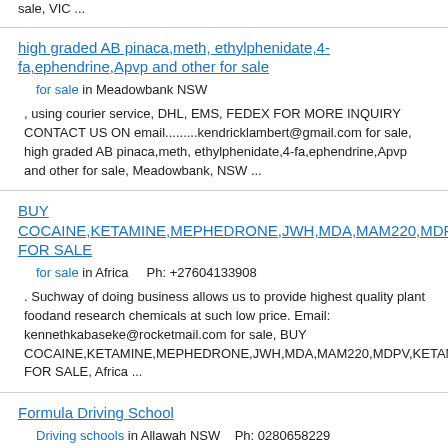sale, VIC ...
high graded AB pinaca,meth, ethylphenidate,4-fa,ephendrine,Apvp and other for sale
for sale in Meadowbank NSW
, using courier service, DHL, EMS, FEDEX FOR MORE INQUIRY CONTACT US ON email.........kendricklambert@gmail.com for sale, high graded AB pinaca,meth, ethylphenidate,4-fa,ephendrine,Apvp and other for sale, Meadowbank, NSW ...
BUY COCAINE,KETAMINE,MEPHEDRONE,JWH,MDA,MAM220,MDPV,KETAMINE FOR SALE
for sale in Africa    Ph: +27604133908
. Suchway of doing business allows us to provide highest quality plant foodand research chemicals at such low price. Email: kennethkabaseke@rocketmail.com for sale, BUY COCAINE,KETAMINE,MEPHEDRONE,JWH,MDA,MAM220,MDPV,KETAMINE FOR SALE, Africa ...
Formula Driving School
Driving schools in Allawah NSW    Ph: 0280658229
you have made a wise choice coming here. Formula Driving School is a premier Sydney Driving School. We conduct practical driving lessons using